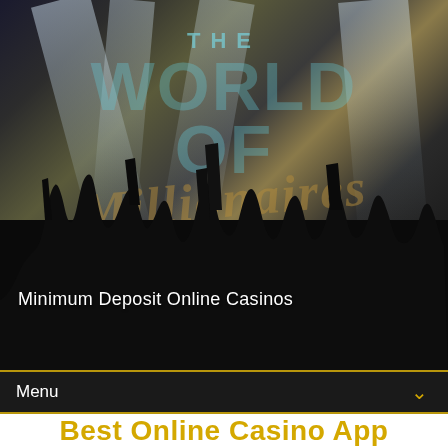[Figure (photo): Dark concert/event scene with crowd silhouettes raising hands, bright stage light beams in background, overlaid with large semi-transparent text reading 'THE WORLD OF' and script watermark text. Shows an energetic crowd at an event with dramatic lighting.]
Minimum Deposit Online Casinos
Menu
Best Online Casino App